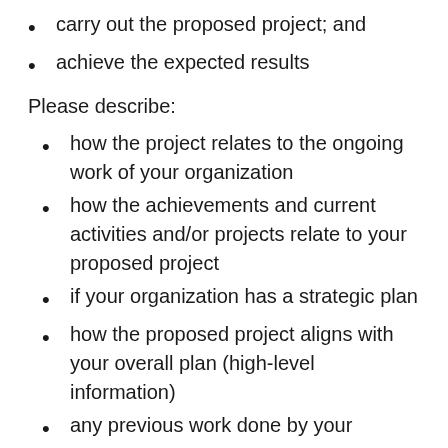carry out the proposed project; and
achieve the expected results
Please describe:
how the project relates to the ongoing work of your organization
how the achievements and current activities and/or projects relate to your proposed project
if your organization has a strategic plan
how the proposed project aligns with your overall plan (high-level information)
any previous work done by your